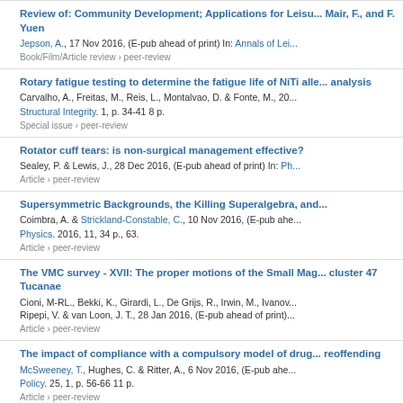Review of: Community Development; Applications for Leisure... Mair, F., and F. Yuen
Jepson, A., 17 Nov 2016, (E-pub ahead of print) In: Annals of Lei...
Book/Film/Article review › peer-review
Rotary fatigue testing to determine the fatigue life of NiTi alle... analysis
Carvalho, A., Freitas, M., Reis, L., Montalvao, D. & Fonte, M., 20...
Structural Integrity. 1, p. 34-41 8 p.
Special issue › peer-review
Rotator cuff tears: is non-surgical management effective?
Sealey, P. & Lewis, J., 28 Dec 2016, (E-pub ahead of print) In: Ph...
Article › peer-review
Supersymmetric Backgrounds, the Killing Superalgebra, and...
Coimbra, A. & Strickland-Constable, C., 10 Nov 2016, (E-pub ahe...
Physics. 2016, 11, 34 p., 63.
Article › peer-review
The VMC survey - XVII: The proper motions of the Small Mag... cluster 47 Tucanae
Cioni, M-RL., Bekki, K., Girardi, L., De Grijs, R., Irwin, M., Ivanov... Ripepi, V. & van Loon, J. T., 28 Jan 2016, (E-pub ahead of print)...
Article › peer-review
The impact of compliance with a compulsory model of drug... reoffending
McSweeney, T., Hughes, C. & Ritter, A., 6 Nov 2016, (E-pub ahe...
Policy. 25, 1, p. 56-66 11 p.
Article › peer-review
The involvement of long-term serial-order memory in reading...
Bogaerts, L., Szmalec, A., De Maeyer, M., Page, M. P. A. & Duyc...
Journal of Experimental Child Psychology. 145, p. 139-156 18 p...